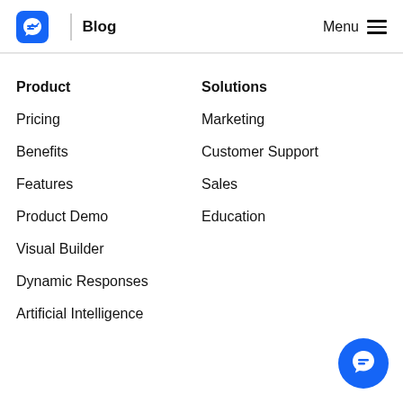Blog | Menu
Product
Pricing
Benefits
Features
Product Demo
Visual Builder
Dynamic Responses
Artificial Intelligence
Solutions
Marketing
Customer Support
Sales
Education
[Figure (logo): Blue circular chat/messenger logo icon in bottom right corner]